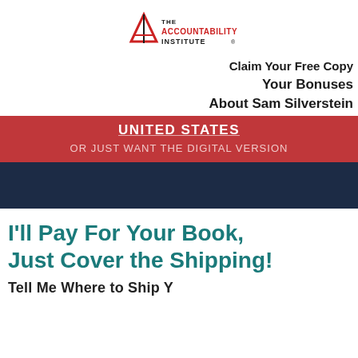[Figure (logo): The Accountability Institute logo — red triangle/letter A mark with text 'THE ACCOUNTABILITY INSTITUTE' to the right]
Claim Your Free Copy
Your Bonuses
About Sam Silverstein
UNITED STATES
OR JUST WANT THE DIGITAL VERSION
I'll Pay For Your Book, Just Cover the Shipping!
Tell Me Where to Ship Y...